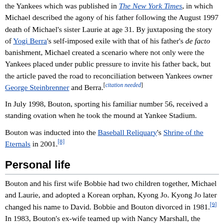the Yankees which was published in The New York Times, in which Michael described the agony of his father following the August 1997 death of Michael's sister Laurie at age 31. By juxtaposing the story of Yogi Berra's self-imposed exile with that of his father's de facto banishment, Michael created a scenario where not only were the Yankees placed under public pressure to invite his father back, but the article paved the road to reconciliation between Yankees owner George Steinbrenner and Berra.[citation needed]
In July 1998, Bouton, sporting his familiar number 56, received a standing ovation when he took the mound at Yankee Stadium.
Bouton was inducted into the Baseball Reliquary's Shrine of the Eternals in 2001.[8]
Personal life
Bouton and his first wife Bobbie had two children together, Michael and Laurie, and adopted a Korean orphan, Kyong Jo. Kyong Jo later changed his name to David. Bobbie and Bouton divorced in 1981.[9] In 1983, Bouton's ex-wife teamed up with Nancy Marshall, the former wife of pitcher Mike Marshall, to write a tell-all book called Home Games. In response to the book's publication, Bouton commented: